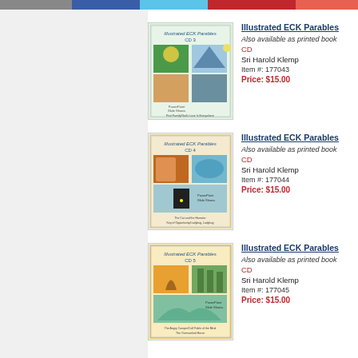[Figure (illustration): Book/CD cover for Illustrated ECK Parables CD 3]
Illustrated ECK Parables
Also available as printed book
CD
Sri Harold Klemp
Item #: 177043
Price: $15.00
[Figure (illustration): Book/CD cover for Illustrated ECK Parables CD 4]
Illustrated ECK Parables
Also available as printed book
CD
Sri Harold Klemp
Item #: 177044
Price: $15.00
[Figure (illustration): Book/CD cover for Illustrated ECK Parables CD 5]
Illustrated ECK Parables
Also available as printed book
CD
Sri Harold Klemp
Item #: 177045
Price: $15.00